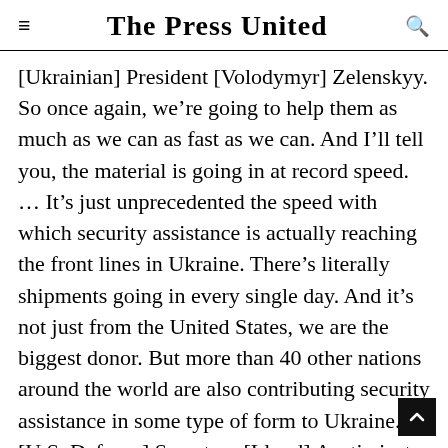The Press United
[Ukrainian] President [Volodymyr] Zelenskyy. So once again, we’re going to help them as much as we can as fast as we can. And I’ll tell you, the material is going in at record speed. … It’s just unprecedented the speed with which security assistance is actually reaching the front lines in Ukraine. There’s literally shipments going in every single day. And it’s not just from the United States, we are the biggest donor. But more than 40 other nations around the world are also contributing security assistance in some type of form to Ukraine. [U.S. Defense] Secretary [Lloyd] Austin just